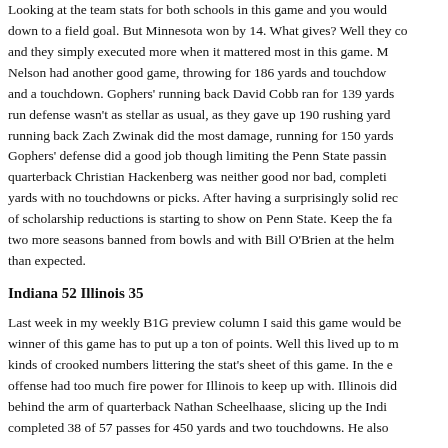Looking at the team stats for both schools in this game and you would down to a field goal. But Minnesota won by 14. What gives? Well they co and they simply executed more when it mattered most in this game. M Nelson had another good game, throwing for 186 yards and touchdow and a touchdown. Gophers' running back David Cobb ran for 139 yards run defense wasn't as stellar as usual, as they gave up 190 rushing yard running back Zach Zwinak did the most damage, running for 150 yards Gophers' defense did a good job though limiting the Penn State passin quarterback Christian Hackenberg was neither good nor bad, completi yards with no touchdowns or picks. After having a surprisingly solid rec of scholarship reductions is starting to show on Penn State. Keep the fa two more seasons banned from bowls and with Bill O'Brien at the helm than expected.
Indiana 52 Illinois 35
Last week in my weekly B1G preview column I said this game would be winner of this game has to put up a ton of points. Well this lived up to m kinds of crooked numbers littering the stat's sheet of this game. In the e offense had too much fire power for Illinois to keep up with. Illinois did behind the arm of quarterback Nathan Scheelhaase, slicing up the Indi completed 38 of 57 passes for 450 yards and two touchdowns. He also